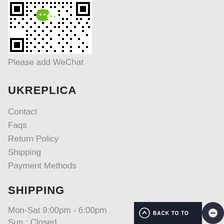[Figure (other): WeChat QR code with WeChat logo in the center, black and white pattern]
Please add WeChat
UKREPLICA
Contact
Faqs
Return Policy
Shipping
Payment Methods
SHIPPING
Mon-Sat 9:00pm - 6:00pm
Sun : Closed